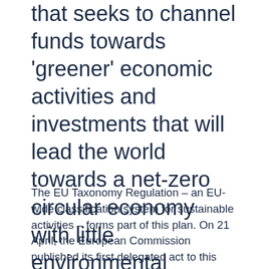that seeks to channel funds towards 'greener' economic activities and investments that will lead the world towards a net-zero circular economy with little environmental impact.
The EU Taxonomy Regulation – an EU-wide classification system for sustainable activities – forms part of this plan. On 21 April, the European Commission published its first delegated act to this Taxonomy Regulation. The act aims to establish so-called 'technical screening criteria' for determining whether a